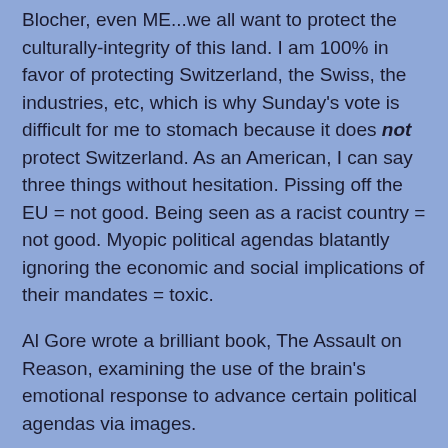Blocher, even ME...we all want to protect the culturally-integrity of this land. I am 100% in favor of protecting Switzerland, the Swiss, the industries, etc, which is why Sunday's vote is difficult for me to stomach because it does not protect Switzerland. As an American, I can say three things without hesitation. Pissing off the EU = not good. Being seen as a racist country = not good. Myopic political agendas blatantly ignoring the economic and social implications of their mandates = toxic.
Al Gore wrote a brilliant book, The Assault on Reason, examining the use of the brain's emotional response to advance certain political agendas via images.
If you are a devout Catholic farmer in a small village in the Italian-speaking part of Switzerland and you saw this poster...